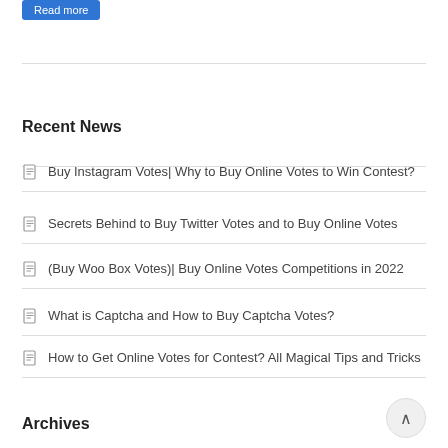Read more
Recent News
Buy Instagram Votes| Why to Buy Online Votes to Win Contest?
Secrets Behind to Buy Twitter Votes and to Buy Online Votes
(Buy Woo Box Votes)| Buy Online Votes Competitions in 2022
What is Captcha and How to Buy Captcha Votes?
How to Get Online Votes for Contest? All Magical Tips and Tricks
Archives